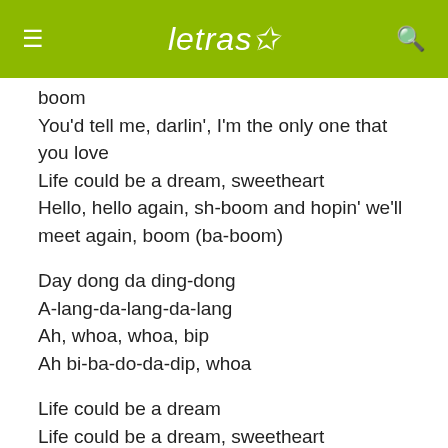letras
boom
You'd tell me, darlin', I'm the only one that you love
Life could be a dream, sweetheart
Hello, hello again, sh-boom and hopin' we'll meet again, boom (ba-boom)
Day dong da ding-dong
A-lang-da-lang-da-lang
Ah, whoa, whoa, bip
Ah bi-ba-do-da-dip, whoa
Life could be a dream
Life could be a dream, sweetheart